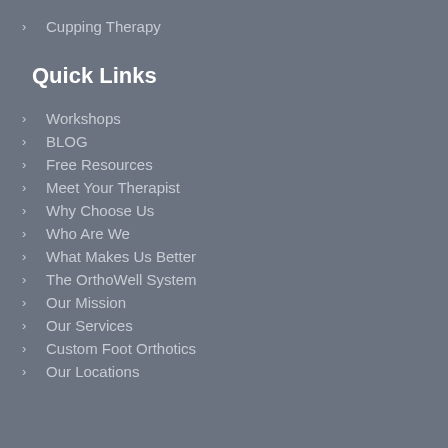Cupping Therapy
Quick Links
Workshops
BLOG
Free Resources
Meet Your Therapist
Why Choose Us
Who Are We
What Makes Us Better
The OrthoWell System
Our Mission
Our Services
Custom Foot Orthotics
Our Locations